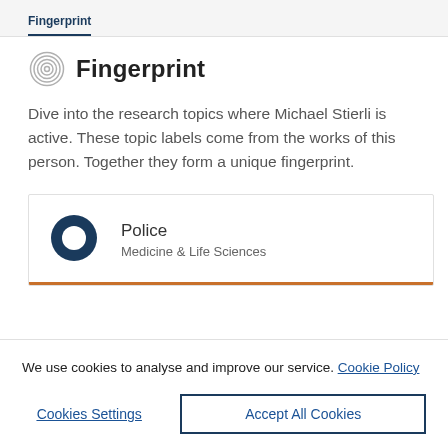Fingerprint (tab)
Fingerprint
Dive into the research topics where Michael Stierli is active. These topic labels come from the works of this person. Together they form a unique fingerprint.
Police
Medicine & Life Sciences
We use cookies to analyse and improve our service. Cookie Policy
Cookies Settings
Accept All Cookies